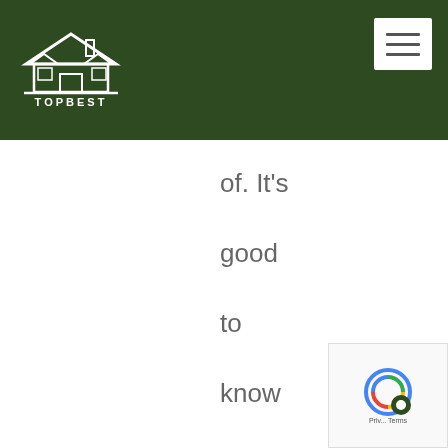TOPBEST
of. It's good to know how to treat bed bug bites, but you wouldn't